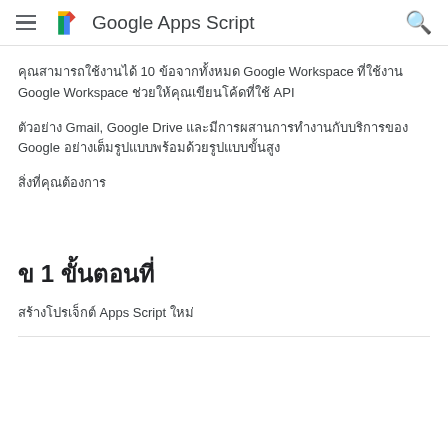Google Apps Script
คุณสามารถใช้งานได้ 10 ข้อจากทั้งหมด Google Workspace ที่ใช้งาน
Google Workspace ช่วยให้คุณเขียนโค้ดที่ใช้ API
ตัวอย่าง Gmail, Google Drive และมีการผสานการทำงานกับบริการของ Google อย่างเต็มรูปแบบพร้อมด้วยรูปแบบขั้นสูง
สิ่งที่คุณต้องการ
ข 1 ขั้นตอนที่
สร้างโปรเจ็กต์ Apps Script ใหม่